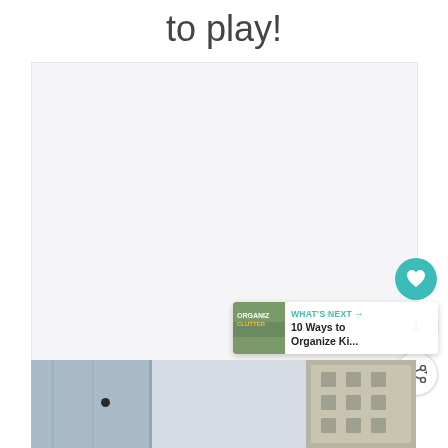to play!
[Figure (photo): Large white/light gray rectangular image placeholder area]
[Figure (infographic): Social sharing UI overlay with heart/favorite button (teal), count badge showing '1', and share button]
[Figure (infographic): WHAT'S NEXT banner showing '10 Ways to Organize Ki...' with thumbnail image]
[Figure (photo): Bottom portion of a room photo showing white cabinet with black knob, curtain fabric, and other room elements]